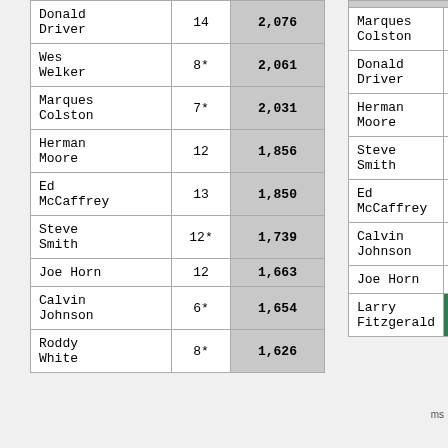| Player | Seasons | Yards |
| --- | --- | --- |
| Donald Driver | 14 | 2,076 |
| Wes Welker | 8* | 2,061 |
| Marques Colston | 7* | 2,031 |
| Herman Moore | 12 | 1,856 |
| Ed McCaffrey | 13 | 1,850 |
| Steve Smith | 12* | 1,739 |
| Joe Horn | 12 | 1,663 |
| Calvin Johnson | 6* | 1,654 |
| Roddy White | 8* | 1,626 |
| Player | Seasons |
| --- | --- |
| Marques Colston | 7* |
| Donald Driver | 14 |
| Herman Moore | 12 |
| Steve Smith | 12* |
| Ed McCaffrey | 13 |
| Calvin Johnson | 6* |
| Joe Horn | 12 |
| Larry Fitzgerald |  |